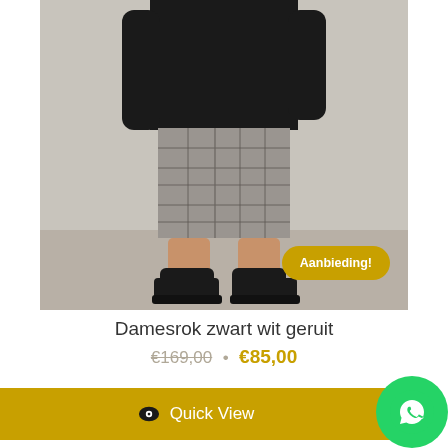[Figure (photo): Fashion product photo of a woman from torso down wearing a grey plaid/checkered pencil skirt with black boots and black top, standing against a light grey wall. A yellow 'Aanbieding!' badge is visible in the lower right of the image.]
Damesrok zwart wit geruit
€169,00 · €85,00
Quick View